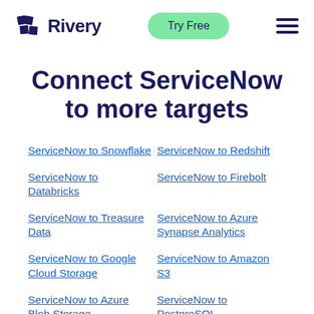Rivery — Try Free
Connect ServiceNow to more targets
ServiceNow to Snowflake
ServiceNow to Redshift
ServiceNow to Databricks
ServiceNow to Firebolt
ServiceNow to Treasure Data
ServiceNow to Azure Synapse Analytics
ServiceNow to Google Cloud Storage
ServiceNow to Amazon S3
ServiceNow to Azure Blob Storage
ServiceNow to PostgreSQL